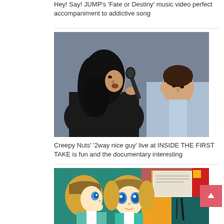Hey! Say! JUMP's 'Fate or Destiny' music video perfect accompaniment to addictive song
[Figure (photo): Two male performers on stage, one with long curly hair singing into a microphone, another with short hair in the background against a grey backdrop]
Creepy Nuts' '2way nice guy' live at INSIDE THE FIRST TAKE is fun and the documentary interesting
[Figure (illustration): Anime-style illustration showing two blond characters with blue eyes and a colorful background with books and stationery items]